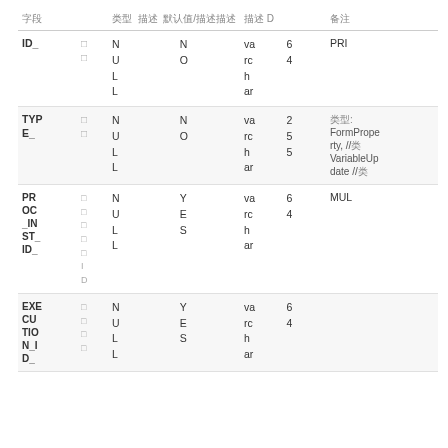| 字段 | 类型 描述 默认值/描述描述 | 描述 D | 备注 |
| --- | --- | --- | --- |
| ID_ | □□ NULL NO varchar 64 |  | PRI |
| TYPE_ | □□ NULL NO varchar 255 |  | 类型: FormProperty, //类 VariableUpdate //类 |
| PROC_INST_ID_ | □□□□□ I D NULL YES varchar 64 |  | MUL |
| EXECUTION_ID_ | □□□□ NULL YES varchar 64 |  |  |